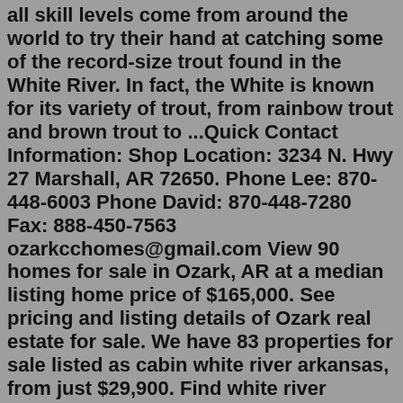all skill levels come from around the world to try their hand at catching some of the record-size trout found in the White River. In fact, the White is known for its variety of trout, from rainbow trout and brown trout to ...Quick Contact Information: Shop Location: 3234 N. Hwy 27 Marshall, AR 72650. Phone Lee: 870-448-6003 Phone David: 870-448-7280 Fax: 888-450-7563 ozarkcchomes@gmail.com View 90 homes for sale in Ozark, AR at a median listing home price of $165,000. See pricing and listing details of Ozark real estate for sale. We have 83 properties for sale listed as cabin white river arkansas, from just $29,900. Find white river properties for sale at the best price The White River in Northwestern Arkansas is known internationally as a premier trout and fly-fishing destination. Anglers of all skill levels come from around the world to try their hand at catching some of the record-size trout found in the White River. In fact, the White is known for its variety of trout, from rainbow trout and brown trout to ...White River Front Home in the Ozark Mountains. $ 364,900